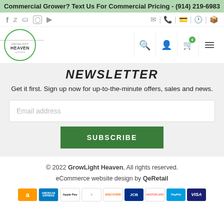Commercial Grower? Text Us For Commercial Pricing - (914) 219-6983
[Figure (screenshot): Social media icons bar (Facebook, Twitter, Pinterest, Instagram, YouTube) on the left; utility icons (email, phone, payment, clock, shipping) on the right]
[Figure (logo): GrowLight Heaven circular logo with green border and stylized sun graphic]
[Figure (screenshot): Navigation icons: search, user account, cart with badge showing 0, hamburger menu]
NEWSLETTER
Get it first. Sign up now for up-to-the-minute offers, sales and news.
[Figure (screenshot): Email address input field (placeholder text: Email address) and green SUBSCRIBE button]
© 2022 GrowLight Heaven, All rights reserved. eCommerce website design by QeRetail
[Figure (screenshot): Payment method icons: Amazon, American Express, Apple Pay, Diners Club, Discover, JCB, Mastercard, PayPal, Visa]